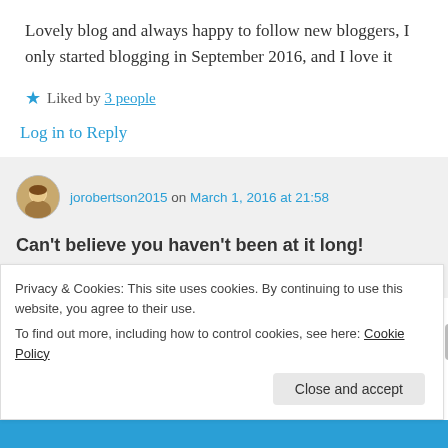Lovely blog and always happy to follow new bloggers, I only started blogging in September 2016, and I love it
★ Liked by 3 people
Log in to Reply
jorobertson2015 on March 1, 2016 at 21:58
Can't believe you haven't been at it long!
Privacy & Cookies: This site uses cookies. By continuing to use this website, you agree to their use. To find out more, including how to control cookies, see here: Cookie Policy
Close and accept